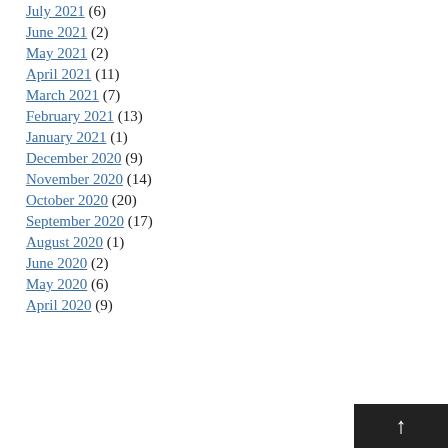July 2021 (6)
June 2021 (2)
May 2021 (2)
April 2021 (11)
March 2021 (7)
February 2021 (13)
January 2021 (1)
December 2020 (9)
November 2020 (14)
October 2020 (20)
September 2020 (17)
August 2020 (1)
June 2020 (2)
May 2020 (6)
April 2020 (9)